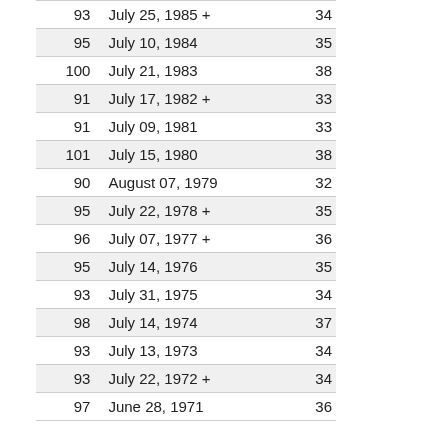|  | Date |  |
| --- | --- | --- |
| 93 | July 25, 1985 + | 34 |
| 95 | July 10, 1984 | 35 |
| 100 | July 21, 1983 | 38 |
| 91 | July 17, 1982 + | 33 |
| 91 | July 09, 1981 | 33 |
| 101 | July 15, 1980 | 38 |
| 90 | August 07, 1979 | 32 |
| 95 | July 22, 1978 + | 35 |
| 96 | July 07, 1977 + | 36 |
| 95 | July 14, 1976 | 35 |
| 93 | July 31, 1975 | 34 |
| 98 | July 14, 1974 | 37 |
| 93 | July 13, 1973 | 34 |
| 93 | July 22, 1972 + | 34 |
| 97 | June 28, 1971 | 36 |